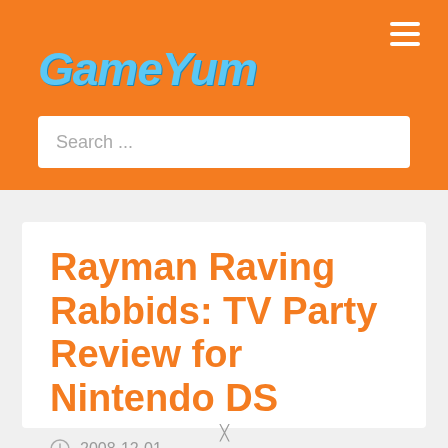GameYum
Rayman Raving Rabbids: TV Party Review for Nintendo DS
2008-12-01